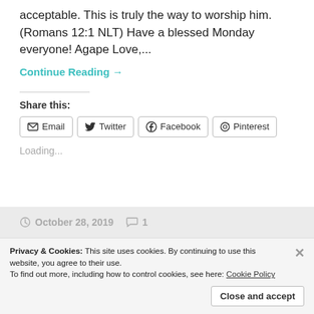acceptable. This is truly the way to worship him. (Romans 12:1 NLT) Have a blessed Monday everyone! Agape Love,...
Continue Reading →
Share this:
Email  Twitter  Facebook  Pinterest
Loading...
October 28, 2019   1
Privacy & Cookies: This site uses cookies. By continuing to use this website, you agree to their use.
To find out more, including how to control cookies, see here: Cookie Policy
Close and accept